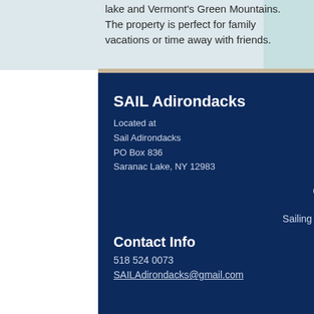lake and Vermont's Green Mountains. The property is perfect for family vacations or time away with friends.
SAIL Adirondacks
Located at
Sail Adirondacks
PO Box 836
Saranac Lake, NY 12983
Open 7 days a week:
Monday-Sunday  8am-8pm
Sailing in the Adirondacks May-September
Contact Info
518 524 0073
SAILAdirondacks@gmail.com
[Figure (illustration): Facebook and Instagram social media icons]
© 2020 by Sail Adirondacks